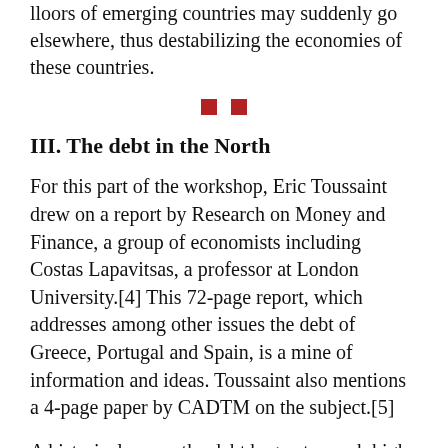lloors of emerging countries may suddenly go elsewhere, thus destabilizing the economies of these countries.
■ ■
III. The debt in the North
For this part of the workshop, Eric Toussaint drew on a report by Research on Money and Finance, a group of economists including Costas Lapavitsas, a professor at London University.[4] This 72-page report, which addresses among other issues the debt of Greece, Portugal and Spain, is a mine of information and ideas. Toussaint also mentions a 4-page paper by CADTM on the subject.[5]
A historical recap: the debt began to reach high levels in the North in the 1980s. After the first oil crisis and the economic crisis of 1973-1975, governments in the North attempted to re-boost the economy